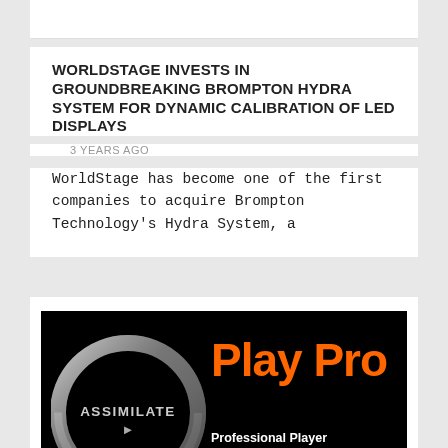[Figure (screenshot): Top white card strip (partially visible from previous section)]
WORLDSTAGE INVESTS IN GROUNDBREAKING BROMPTON HYDRA SYSTEM FOR DYNAMIC CALIBRATION OF LED DISPLAYS
3 YEARS AGO
WorldStage has become one of the first companies to acquire Brompton Technology's Hydra System, a
[Figure (screenshot): Black video thumbnail showing Assimilate logo (circular metallic ring with ASSIMILATE text and arrow) on the left, orange bold 'Play Pro' text on the right, white text 'Professional Player ProRes RAW transcode' below, and a teal back-to-top button in bottom right corner]